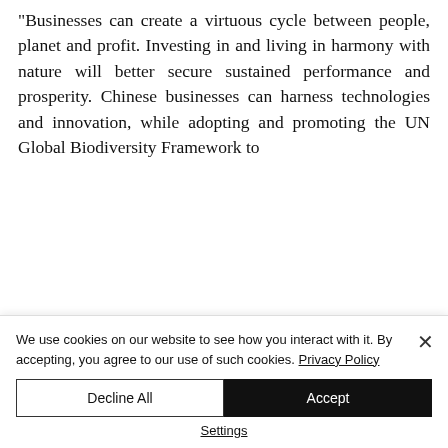"Businesses can create a virtuous cycle between people, planet and profit. Investing in and living in harmony with nature will better secure sustained performance and prosperity. Chinese businesses can harness technologies and innovation, while adopting and promoting the UN Global Biodiversity Framework to
We use cookies on our website to see how you interact with it. By accepting, you agree to our use of such cookies. Privacy Policy
Decline All
Accept
Settings